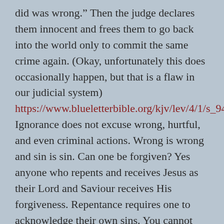did was wrong.” Then the judge declares them innocent and frees them to go back into the world only to commit the same crime again. (Okay, unfortunately this does occasionally happen, but that is a flaw in our judicial system) https://www.blueletterbible.org/kjv/lev/4/1/s_94001 Ignorance does not excuse wrong, hurtful, and even criminal actions. Wrong is wrong and sin is sin. Can one be forgiven? Yes anyone who repents and receives Jesus as their Lord and Saviour receives His forgiveness. Repentance requires one to acknowledge their own sins. You cannot confess your sin if you do not acknowledge it. Pretending it is not real or did not happen will not make it go away, and neither will sweeping it under a rug or hiding it in a closet. Until you expose it to His Light it will stay inside of you and eat away at you. Until finally it leads you to your